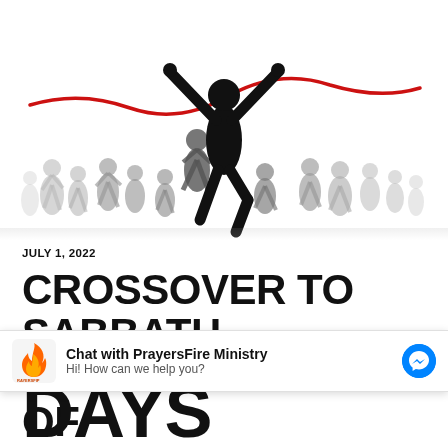[Figure (illustration): Silhouette illustration of a crowd of runners racing, with a dominant central figure crossing a red finish-line tape with arms raised in victory, against a white background.]
JULY 1, 2022
CROSSOVER TO SABBATH 2022: THE MYSTERY OF TURNING-POINTS – DOING DAYS
[Figure (logo): PrayersFire Ministry chat widget with flame logo, bold text 'Chat with PrayersFire Ministry', subtext 'Hi! How can we help you?', and a blue Facebook Messenger icon on the right.]